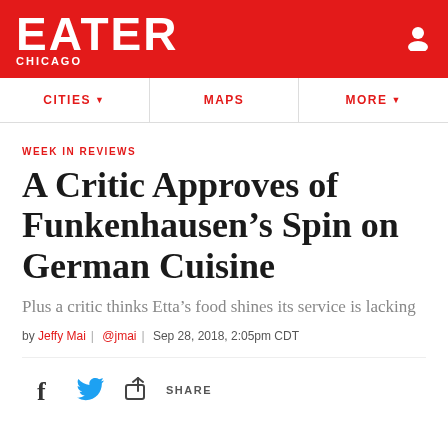EATER CHICAGO
WEEK IN REVIEWS
A Critic Approves of Funkenhausen’s Spin on German Cuisine
Plus a critic thinks Etta’s food shines its service is lacking
by Jeffy Mai | @jmai | Sep 28, 2018, 2:05pm CDT
SHARE